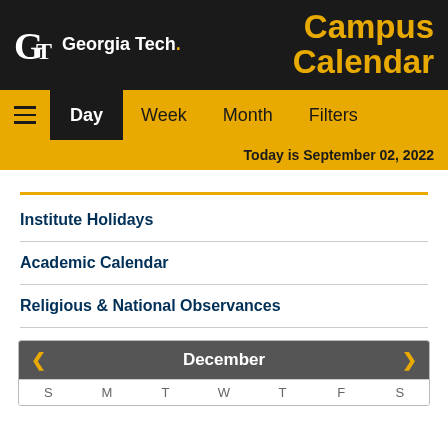Georgia Tech Campus Calendar
Day  Week  Month  Filters
Today is September 02, 2022
Institute Holidays
Academic Calendar
Religious & National Observances
[Figure (other): Mini calendar header showing December with navigation arrows and day-of-week row S M T W T F S]